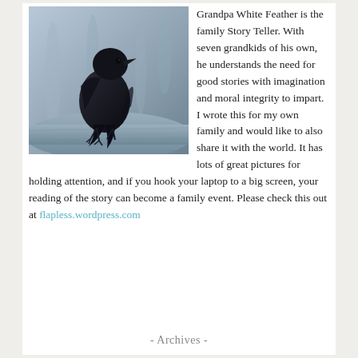[Figure (photo): A black crow or raven perched on a wooden log or branch, photographed in a cool blue-toned setting with blurred background.]
Grandpa White Feather is the family Story Teller. With seven grandkids of his own, he understands the need for good stories with imagination and moral integrity to impart. I wrote this for my own family and would like to also share it with the world. It has lots of great pictures for holding attention, and if you hook your laptop to a big screen, your reading of the story can become a family event. Please check this out at flapless.wordpress.com
- Archives -